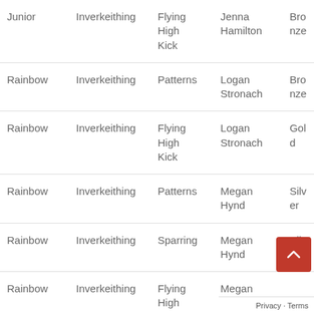| Category | Location | Event | Name | Medal |
| --- | --- | --- | --- | --- |
| Junior | Inverkeithing | Flying High Kick | Jenna Hamilton | Bronze |
| Rainbow | Inverkeithing | Patterns | Logan Stronach | Bronze |
| Rainbow | Inverkeithing | Flying High Kick | Logan Stronach | Gold |
| Rainbow | Inverkeithing | Patterns | Megan Hynd | Silver |
| Rainbow | Inverkeithing | Sparring | Megan Hynd | Silver |
| Rainbow | Inverkeithing | Flying High Kick | Megan |  |